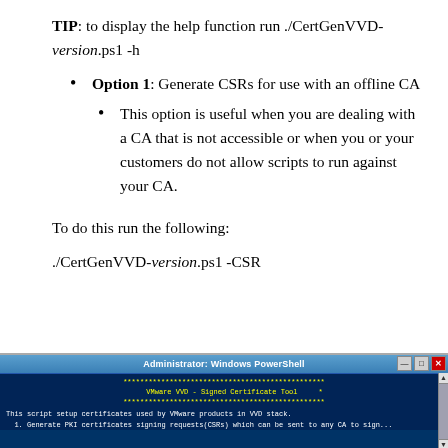TIP: to display the help function run ./CertGenVVD-version.ps1 -h
Option 1: Generate CSRs for use with an offline CA
This option is useful when you are dealing with a CA that is not accessible or when you or your customers do not allow scripts to run against your CA.
To do this run the following:
./CertGenVVD-version.ps1 -CSR
[Figure (screenshot): Windows PowerShell Administrator window showing VMware VVD - Signed Certificate Tool header and script output lines about generating PKI certificates and CSRs]